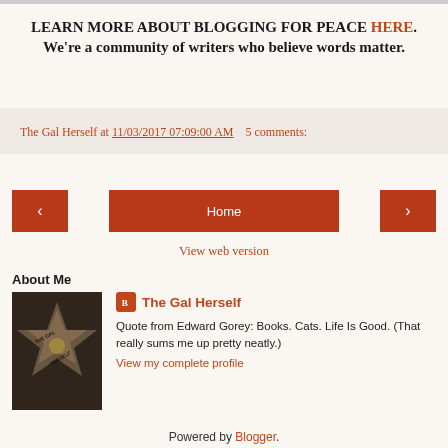LEARN MORE ABOUT BLOGGING FOR PEACE HERE. We're a community of writers who believe words matter.
The Gal Herself at 11/03/2017 07:09:00 AM   5 comments:
‹  Home  ›
View web version
About Me
[Figure (photo): Star on Hollywood Walk of Fame reading 'The Gal Herself']
The Gal Herself
Quote from Edward Gorey: Books. Cats. Life Is Good. (That really sums me up pretty neatly.)
View my complete profile
Powered by Blogger.